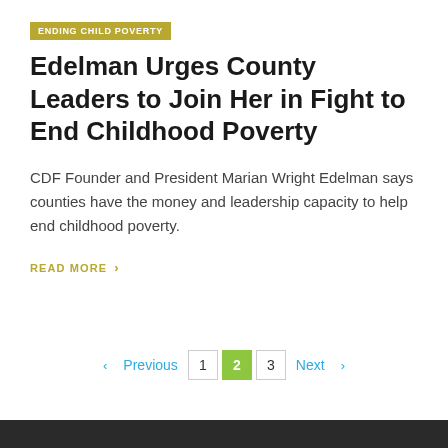ENDING CHILD POVERTY
Edelman Urges County Leaders to Join Her in Fight to End Childhood Poverty
CDF Founder and President Marian Wright Edelman says counties have the money and leadership capacity to help end childhood poverty.
READ MORE >
‹ Previous  1  2  3  Next ›